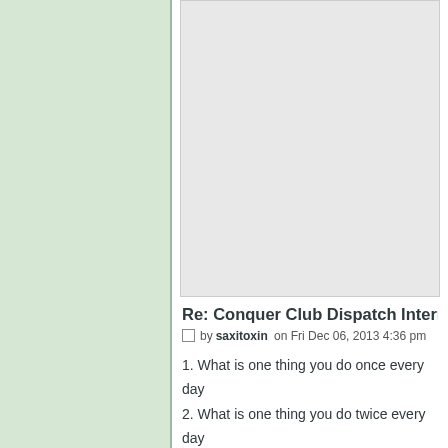[Figure (other): Left green sidebar panel]
[Figure (other): Gray advertisement/image area in upper right content column]
Re: Conquer Club Dispatch Interro
by saxitoxin on Fri Dec 06, 2013 4:36 pm
1. What is one thing you do once every day
2. What is one thing you do twice every day
3. If you were brown-bagging lunch, what w
4. What's the best grade you ever received
5. What's the worst grade you ever receive